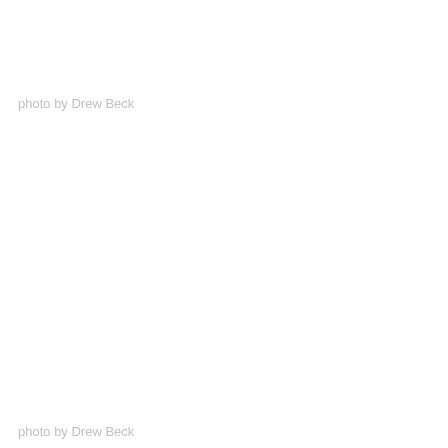photo by Drew Beck
photo by Drew Beck